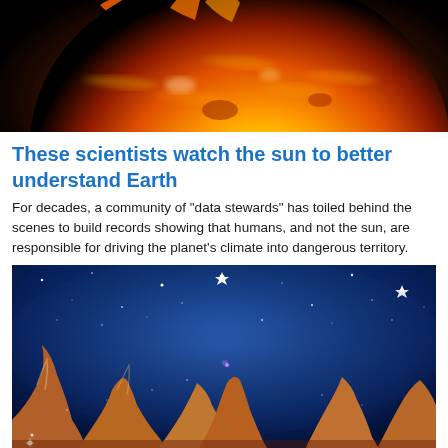[Figure (photo): Close-up photo of the sun's surface showing a massive solar flare and fiery orange and red corona against a black background]
These scientists watch the sun to better understand Earth
For decades, a community of "data stewards" has toiled behind the scenes to build records showing that humans, and not the sun, are responsible for driving the planet's climate into dangerous territory.
[Figure (photo): James Webb Space Telescope image of the Carina Nebula showing towering pillars of gas and dust (Cosmic Cliffs) with a deep blue star-filled sky above and golden-brown nebula structures below]
'You ain't seen nothing yet': New space